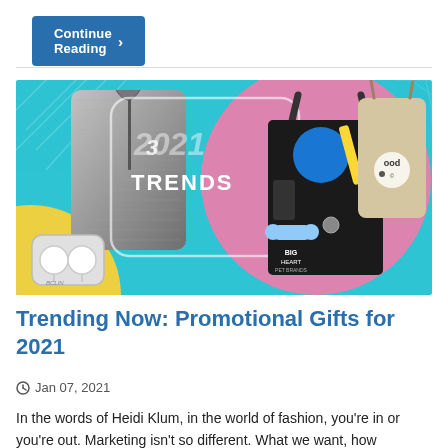Continue Reading »
[Figure (illustration): Promotional products banner for 2021 Trends showing a grey zip-up jacket with earbuds, a black tote bag filled with pet toys (blue ball, yellow scissors, red bone), a drawstring bag, and the text '2021 TRENDS' on a teal background with yellow and pink circle accents]
Trending Now: Promotional Gifts for 2021
Jan 07, 2021
In the words of Heidi Klum, in the world of fashion, you're in or you're out. Marketing isn't so different. What we want, how